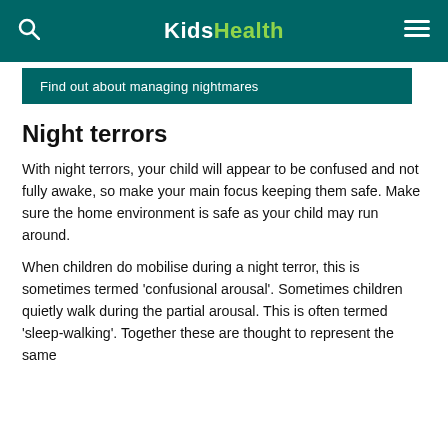KidsHealth
Find out about managing nightmares
Night terrors
With night terrors, your child will appear to be confused and not fully awake, so make your main focus keeping them safe. Make sure the home environment is safe as your child may run around.
When children do mobilise during a night terror, this is sometimes termed 'confusional arousal'. Sometimes children quietly walk during the partial arousal. This is often termed 'sleep-walking'. Together these are thought to represent the same